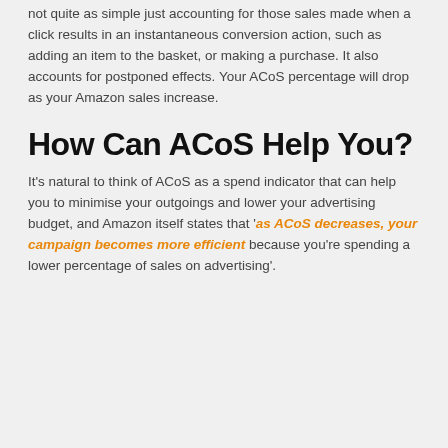not quite as simple just accounting for those sales made when a click results in an instantaneous conversion action, such as adding an item to the basket, or making a purchase. It also accounts for postponed effects. Your ACoS percentage will drop as your Amazon sales increase.
How Can ACoS Help You?
It's natural to think of ACoS as a spend indicator that can help you to minimise your outgoings and lower your advertising budget, and Amazon itself states that 'as ACoS decreases, your campaign becomes more efficient because you're spending a lower percentage of sales on advertising'.